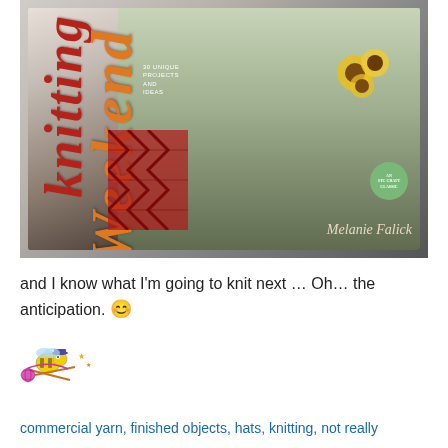[Figure (photo): Photo of a knitting book titled 'Weekend Knitting: 50 Unique Projects and Ideas' by Melanie Falick, shown lying on a surface. The cover features a woman in a red patterned coat holding sunflowers.]
and I know what I'm going to knit next … Oh… the anticipation. 🙂
[Figure (illustration): Small pixel-art style knitting bee mascot icon]
commercial yarn, finished objects, hats, knitting, not really